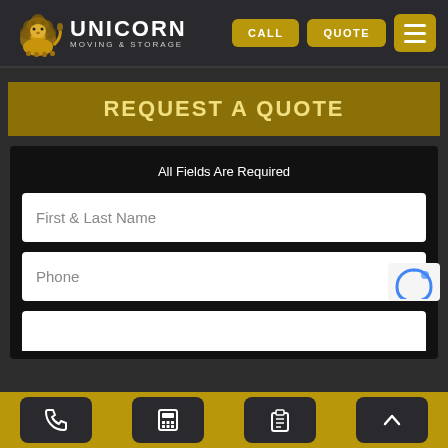[Figure (logo): Unicorn Moving & Storage logo with lion graphic and text]
REQUEST A QUOTE
All Fields Are Required
First & Last Name
Phone
[Figure (screenshot): Bottom navigation bar with phone, calculator, clipboard, and up-arrow icons on gold background]